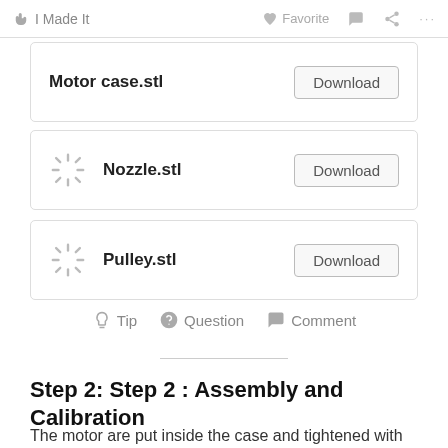I Made It   Favorite   Comment   Share   ...
Motor case.stl   Download
Nozzle.stl   Download
Pulley.stl   Download
Tip   Question   Comment
Step 2: Step 2 : Assembly and Calibration
The motor are put inside the case and tightened with M3 screws, it should be then mounted on a wooden